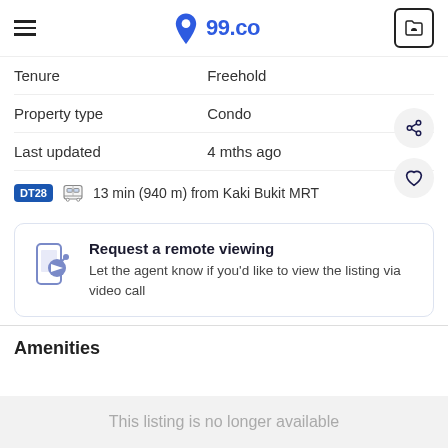99.co
| Label | Value |
| --- | --- |
| Tenure | Freehold |
| Property type | Condo |
| Last updated | 4 mths ago |
DT28  13 min (940 m) from Kaki Bukit MRT
Request a remote viewing
Let the agent know if you'd like to view the listing via video call
Amenities
This listing is no longer available